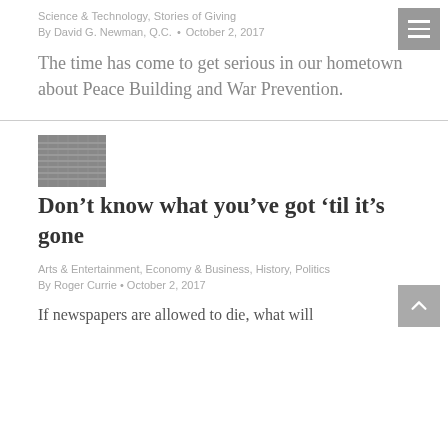Science & Technology, Stories of Giving
By David G. Newman, Q.C. • October 2, 2017
The time has come to get serious in our hometown about Peace Building and War Prevention.
[Figure (photo): Thumbnail photo of a building interior/exterior, grayscale]
Don't know what you've got 'til it's gone
Arts & Entertainment, Economy & Business, History, Politics
By Roger Currie • October 2, 2017
If newspapers are allowed to die, what will